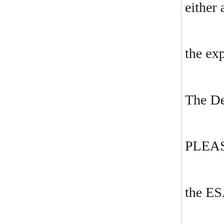either altered or unaltered, without the express written permission of The Deer's Embroidery Legacy. PLEASE NOTE: sharing or selling the ESA font files is NOT permitted under any circumstances.

ESA fonts can be used within home embroidery projects, finished items for sale and can be used for adding the embroidered text within digitized designs for sale, which are converted to embroidery formats.

However, the...